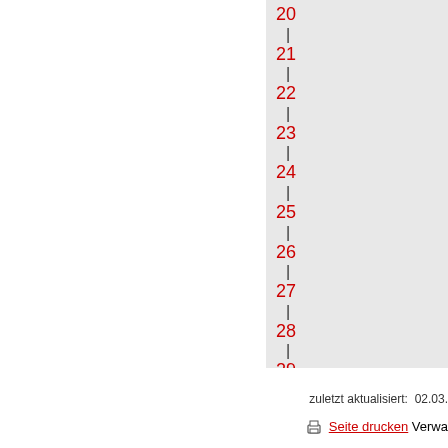20
21
22
23
24
25
26
27
28
29
30
31
zuletzt aktualisiert:  02.03.  |  Seite drucken  Verwa...